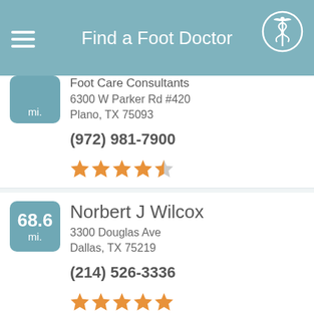Find a Foot Doctor
Foot Care Consultants
6300 W Parker Rd #420
Plano, TX 75093
(972) 981-7900
4.5 stars
68.6 mi.
Norbert J Wilcox
3300 Douglas Ave
Dallas, TX 75219
(214) 526-3336
5 stars
55.5 mi.
Howard L Weinstein DPM
3730 North Josey Lane
Carrollton, TX 75007